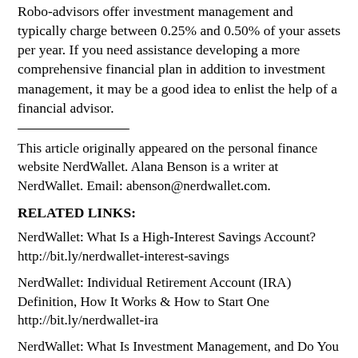Robo-advisors offer investment management and typically charge between 0.25% and 0.50% of your assets per year. If you need assistance developing a more comprehensive financial plan in addition to investment management, it may be a good idea to enlist the help of a financial advisor.
This article originally appeared on the personal finance website NerdWallet. Alana Benson is a writer at NerdWallet. Email: abenson@nerdwallet.com.
RELATED LINKS:
NerdWallet: What Is a High-Interest Savings Account?
http://bit.ly/nerdwallet-interest-savings
NerdWallet: Individual Retirement Account (IRA) Definition, How It Works & How to Start One
http://bit.ly/nerdwallet-ira
NerdWallet: What Is Investment Management, and Do You